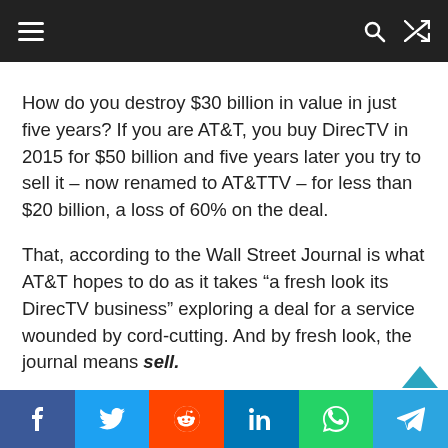Navigation header with menu, search, and shuffle icons
How do you destroy $30 billion in value in just five years? If you are AT&T, you buy DirecTV in 2015 for $50 billion and five years later you try to sell it – now renamed to AT&TTV – for less than $20 billion, a loss of 60% on the deal.
That, according to the Wall Street Journal is what AT&T hopes to do as it takes “a fresh look its DirecTV business” exploring a deal for a service wounded by cord-cutting. And by fresh look, the journal means sell.
Social share bar: Facebook, Twitter, Reddit, LinkedIn, WhatsApp, Telegram